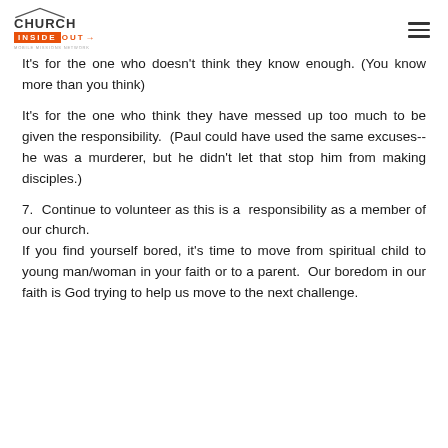CHURCH INSIDE OUT MOBILE MISSIONS NETWORK
It's for the one who doesn't think they know enough. (You know more than you think)
It's for the one who think they have messed up too much to be given the responsibility. (Paul could have used the same excuses--he was a murderer, but he didn't let that stop him from making disciples.)
7. Continue to volunteer as this is a responsibility as a member of our church.
If you find yourself bored, it's time to move from spiritual child to young man/woman in your faith or to a parent. Our boredom in our faith is God trying to help us move to the next challenge.